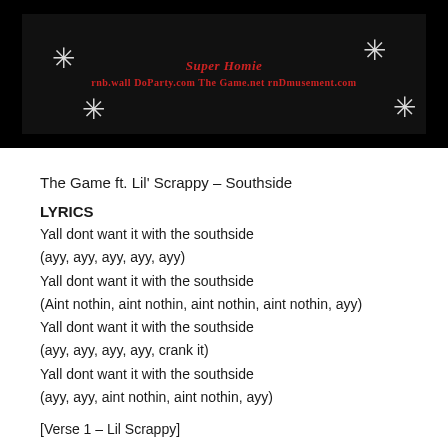[Figure (photo): Black banner image with red and white stylized text and spiky/burst decorative elements. Text reads website URLs in red lettering on dark background.]
The Game ft. Lil' Scrappy – Southside
LYRICS
Yall dont want it with the southside
(ayy, ayy, ayy, ayy, ayy)
Yall dont want it with the southside
(Aint nothin, aint nothin, aint nothin, aint nothin, ayy)
Yall dont want it with the southside
(ayy, ayy, ayy, ayy, crank it)
Yall dont want it with the southside
(ayy, ayy, aint nothin, aint nothin, ayy)
[Verse 1 – Lil Scrappy]